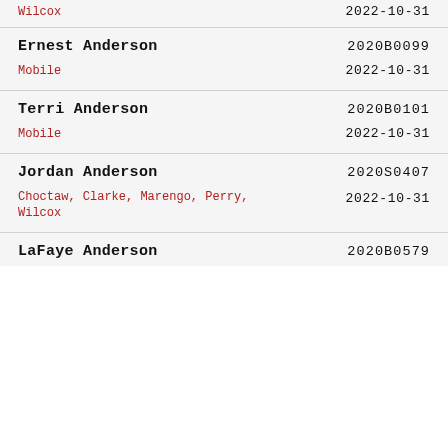Wilcox | 2022-10-31
Ernest Anderson | 2020B0099 | Mobile | 2022-10-31
Terri Anderson | 2020B0101 | Mobile | 2022-10-31
Jordan Anderson | 2020S0407 | Choctaw, Clarke, Marengo, Perry, Wilcox | 2022-10-31
LaFaye Anderson | 2020B0579